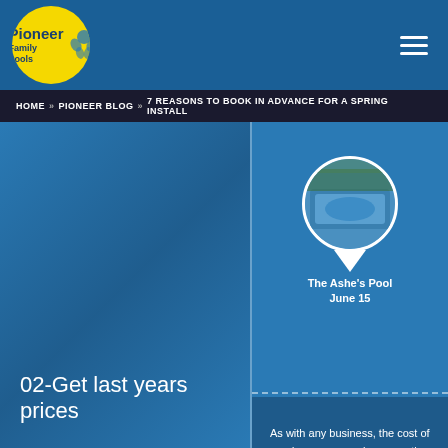Pioneer Family Pools
HOME » PIONEER BLOG » 7 REASONS TO BOOK IN ADVANCE FOR A SPRING INSTALL
The Ashe's Pool
June 15
May 5
02-Get last years prices
As with any business, the cost of goods goes up each year as the prices increase from manufacturers and suppliers for things like steel, vinyl, and equipment. The best way to take advantage of seasonal savings is to book your spring pool build before the year ends. This way you're able to take advantage of previous year pricing before the suppliers and